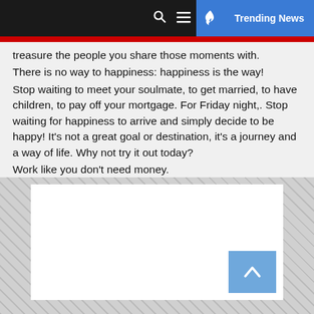🔍 ☰ 🔥 Trending News
treasure the people you share those moments with.
There is no way to happiness: happiness is the way!
Stop waiting to meet your soulmate, to get married, to have children, to pay off your mortgage. For Friday night,. Stop waiting for happiness to arrive and simply decide to be happy! It's not a great goal or destination, it's a journey and a way of life. Why not try it out today?
Work like you don't need money.
Love like you've never been hurt.
And dance like no one's watching!
[Figure (other): Advertisement placeholder area with diagonal hatching pattern and a white rectangle inside. A blue back-to-top button with an upward chevron arrow is visible in the lower right corner of the white area.]